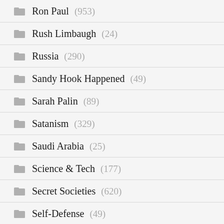Ron Paul (953)
Rush Limbaugh (24)
Russia (290)
Sandy Hook Happened (49)
Sarah Palin (89)
Satanism (329)
Saudi Arabia (25)
Science & Tech (177)
Secret Societies (620)
Self-Defense (49)